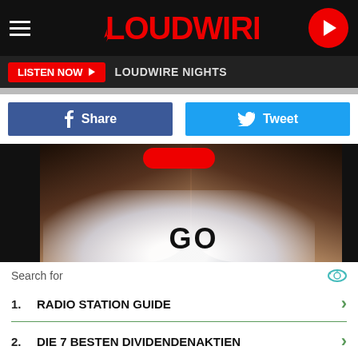LOUDWIRE — LISTEN NOW ▶ LOUDWIRE NIGHTS
Share  Tweet
[Figure (photo): A performer on stage with arms raised, creating smoke/haze, with the word GO visible at the bottom center.]
Search for
1. RADIO STATION GUIDE
2. DIE 7 BESTEN DIVIDENDENAKTIEN
3. MEILLEURES ACTIONS EN BOURSE
4. CARTE GRISE GRATUITE EN LIGNE